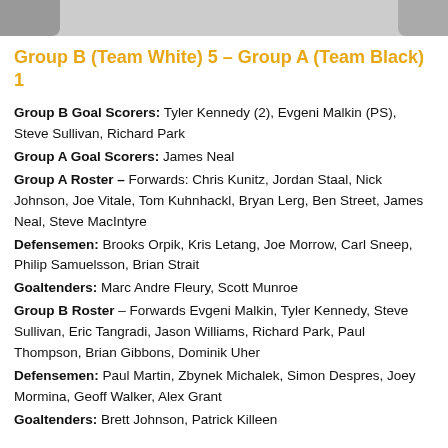[Figure (photo): Top strip showing partial hockey-related photo]
Group B (Team White) 5 – Group A (Team Black) 1
Group B Goal Scorers: Tyler Kennedy (2), Evgeni Malkin (PS), Steve Sullivan, Richard Park
Group A Goal Scorers: James Neal
Group A Roster – Forwards: Chris Kunitz, Jordan Staal, Nick Johnson, Joe Vitale, Tom Kuhnhackl, Bryan Lerg, Ben Street, James Neal, Steve MacIntyre
Defensemen: Brooks Orpik, Kris Letang, Joe Morrow, Carl Sneep, Philip Samuelsson, Brian Strait
Goaltenders: Marc Andre Fleury, Scott Munroe
Group B Roster – Forwards Evgeni Malkin, Tyler Kennedy, Steve Sullivan, Eric Tangradi, Jason Williams, Richard Park, Paul Thompson, Brian Gibbons, Dominik Uher
Defensemen: Paul Martin, Zbynek Michalek, Simon Despres, Joey Mormina, Geoff Walker, Alex Grant
Goaltenders: Brett Johnson, Patrick Killeen